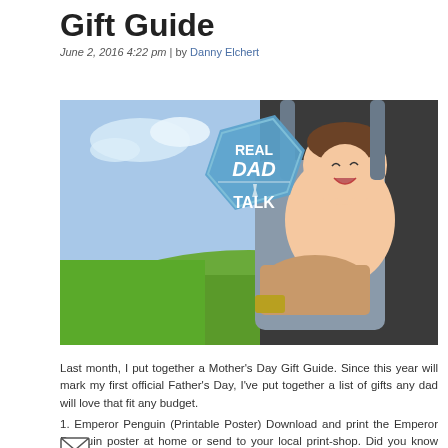Gift Guide
June 2, 2016 4:22 pm | by Danny Elchert
[Figure (photo): A man carrying a laughing baby in a grey baby carrier outdoors on a green lawn, with a blue hexagonal logo overlay reading REAL DAD TALK]
Last month, I put together a Mother's Day Gift Guide. Since this year will mark my first official Father's Day, I've put together a list of gifts any dad will love that fit any budget.
1. Emperor Penguin (Printable Poster) Download and print the Emperor Penguin poster at home or send to your local print-shop. Did you know that the Emperor Penguin is one of the most dedicated fathers in nature? This print is a pretty perfect (and easy) Father's Day gift. $5.19 (plus